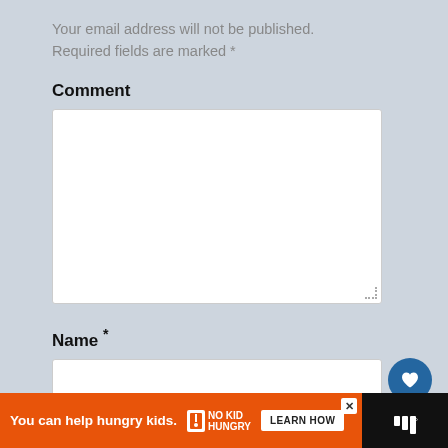Your email address will not be published. Required fields are marked *
Comment
[Figure (screenshot): Empty comment textarea with resize handle]
Name *
[Figure (screenshot): Empty name text input box]
Email *
[Figure (screenshot): Like (heart) floating action button]
[Figure (screenshot): Share floating action button]
[Figure (screenshot): What's Next panel: Essentials You Will Need...]
[Figure (screenshot): Ad bar: You can help hungry kids. No Kid Hungry. LEARN HOW]